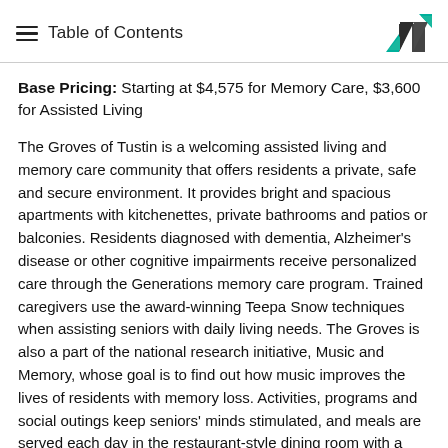Table of Contents
Base Pricing: Starting at $4,575 for Memory Care, $3,600 for Assisted Living
The Groves of Tustin is a welcoming assisted living and memory care community that offers residents a private, safe and secure environment. It provides bright and spacious apartments with kitchenettes, private bathrooms and patios or balconies. Residents diagnosed with dementia, Alzheimer's disease or other cognitive impairments receive personalized care through the Generations memory care program. Trained caregivers use the award-winning Teepa Snow techniques when assisting seniors with daily living needs. The Groves is also a part of the national research initiative, Music and Memory, whose goal is to find out how music improves the lives of residents with memory loss. Activities, programs and social outings keep seniors' minds stimulated, and meals are served each day in the restaurant-style dining room with a cozy stone fireplace. Weekly housekeeping, laundry, transportation, maintenance and a beauty salon are provided.